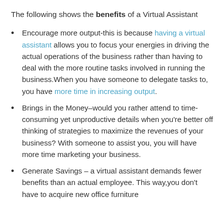The following shows the benefits of a Virtual Assistant
Encourage more output-this is because having a virtual assistant allows you to focus your energies in driving the actual operations of the business rather than having to deal with the more routine tasks involved in running the business.When you have someone to delegate tasks to, you have more time in increasing output.
Brings in the Money–would you rather attend to time-consuming yet unproductive details when you're better off thinking of strategies to maximize the revenues of your business? With someone to assist you, you will have more time marketing your business.
Generate Savings – a virtual assistant demands fewer benefits than an actual employee. This way,you don't have to acquire new office furniture